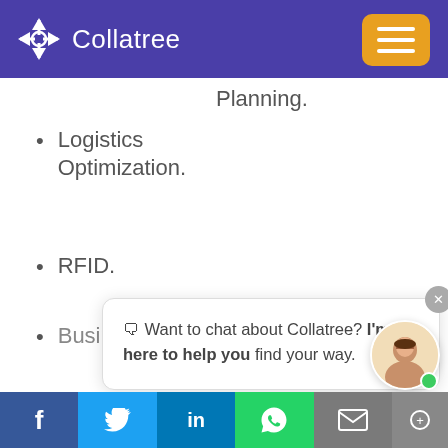[Figure (screenshot): Collatree website header with purple background, logo (arrow icon + Collatree text), and orange hamburger menu button]
Planning.
Logistics Optimization.
RFID.
Business
[Figure (screenshot): Chat popup widget saying: 'Want to chat about Collatree? I'm here to help you find your way.' with close X button and female avatar with green online dot]
Planning.
[Figure (screenshot): Social media footer bar with Facebook, Twitter, LinkedIn, WhatsApp, Email icons]